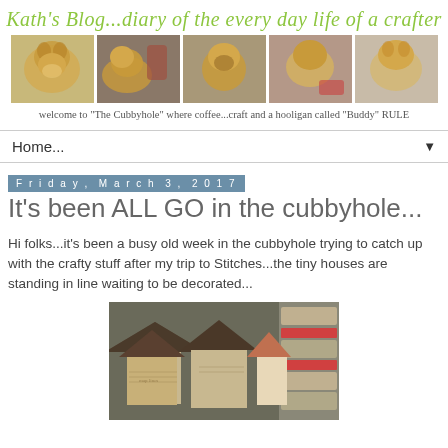Kath's Blog...diary of the every day life of a crafter
[Figure (photo): Five photos of a golden retriever dog in various poses]
welcome to "The Cubbyhole" where coffee...craft and a hooligan called "Buddy" RULE
Home...
Friday, March 3, 2017
It's been ALL GO in the cubbyhole...
Hi folks...it's been a busy old week in the cubbyhole trying to catch up with the crafty stuff after my trip to Stitches...the tiny houses are standing in line waiting to be decorated...
[Figure (photo): Photo of decorative tiny wooden houses with stamped/patterned paper, lined up in a row]